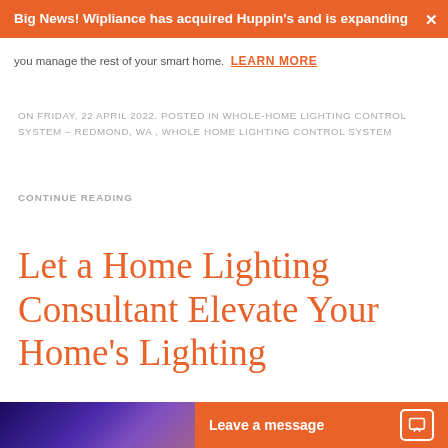Big News! Wipliance has acquired Huppin's and is expanding
you manage the rest of your smart home. LEARN MORE
ON FRIDAY, 22 APRIL 2022. POSTED IN WHOLE-HOME LIGHTING CONTROL SYSTEM – REDMOND, WA , WHOLE HOME LIGHTING CONTROL SYSTEM
CONTINUE READING
Let a Home Lighting Consultant Elevate Your Home's Lighting
Lighting Design Can Make or Break Your Spaces
[Figure (photo): Blue-purple toned photo of a smart home lighting device]
Leave a message